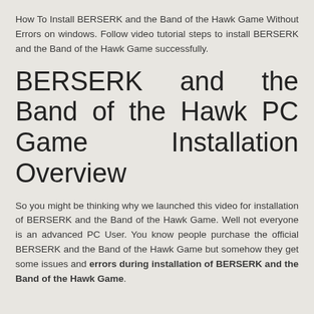How To Install BERSERK and the Band of the Hawk Game Without Errors on windows. Follow video tutorial steps to install BERSERK and the Band of the Hawk Game successfully.
BERSERK and the Band of the Hawk PC Game Installation Overview
So you might be thinking why we launched this video for installation of BERSERK and the Band of the Hawk Game. Well not everyone is an advanced PC User. You know people purchase the official BERSERK and the Band of the Hawk Game but somehow they get some issues and errors during installation of BERSERK and the Band of the Hawk Game.